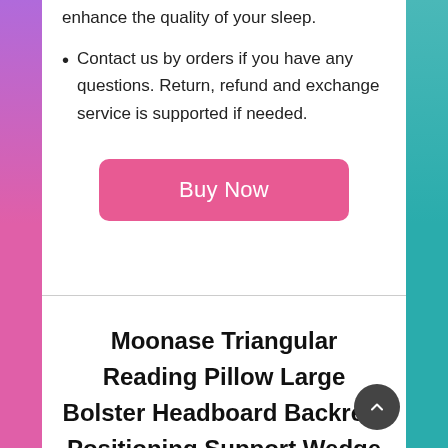enhance the quality of your sleep.
Contact us by orders if you have any questions. Return, refund and exchange service is supported if needed.
Buy Now
Moonase Triangular Reading Pillow Large Bolster Headboard Backrest Positioning Support Wedge Pillow